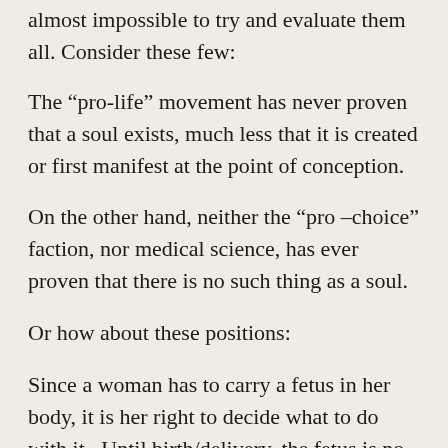almost impossible to try and evaluate them all. Consider these few:
The “pro-life” movement has never proven that a soul exists, much less that it is created or first manifest at the point of conception.
On the other hand, neither the “pro –choice” faction, nor medical science, has ever proven that there is no such thing as a soul.
Or how about these positions:
Since a woman has to carry a fetus in her body, it is her right to decide what to do with it.  Until birth/delivery, the fetus is no more a human being